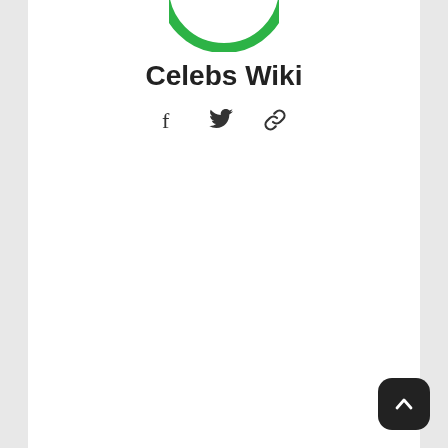[Figure (logo): Green circular logo with a stylized icon, partially visible at the top of the card]
Celebs Wiki
[Figure (infographic): Social media icons row: Facebook (f), Twitter (bird), and link/chain icon]
[Figure (other): Back to top button: dark rounded square with upward chevron arrow, bottom-right corner]